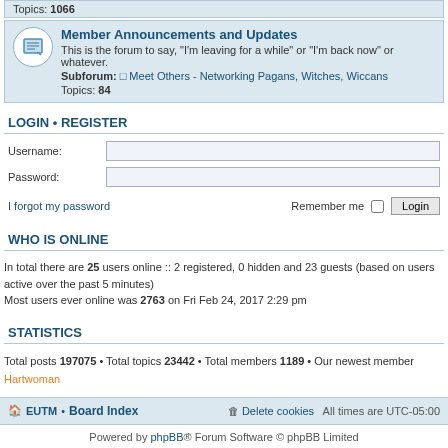Topics: 1066
Member Announcements and Updates
This is the forum to say, "I'm leaving for a while" or "I'm back now" or whatever.
Subforum: Meet Others - Networking Pagans, Witches, Wiccans
Topics: 84
LOGIN • REGISTER
Username:
Password:
I forgot my password    Remember me  Login
WHO IS ONLINE
In total there are 25 users online :: 2 registered, 0 hidden and 23 guests (based on users active over the past 5 minutes)
Most users ever online was 2763 on Fri Feb 24, 2017 2:29 pm
STATISTICS
Total posts 197075 • Total topics 23442 • Total members 1189 • Our newest member Hartwoman
EUTM • Board Index    Delete cookies  All times are UTC-05:00
Powered by phpBB® Forum Software © phpBB Limited
Privacy | Terms